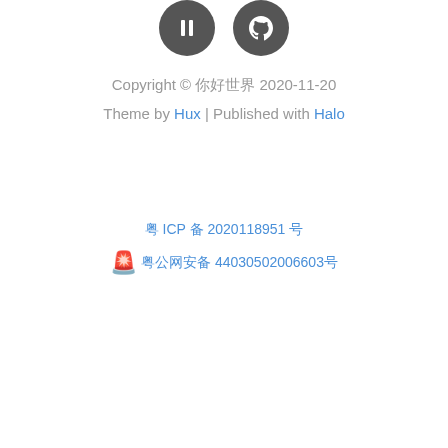[Figure (illustration): Two circular dark gray icon buttons at the top: a pause/stop icon and a GitHub cat icon]
Copyright © 你好世界 2020-11-20
Theme by Hux | Published with Halo
粤 ICP 备 2020118951 号
粤公网安备 44030502006603号